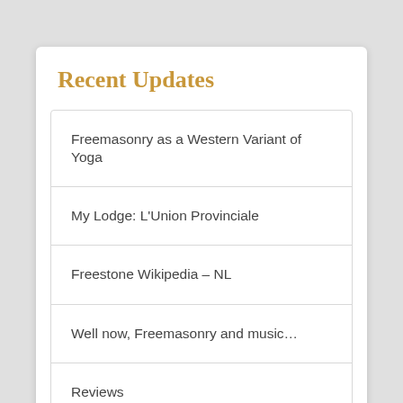Recent Updates
Freemasonry as a Western Variant of Yoga
My Lodge: L'Union Provinciale
Freestone Wikipedia – NL
Well now, Freemasonry and music…
Reviews
Scottish Rite Journal